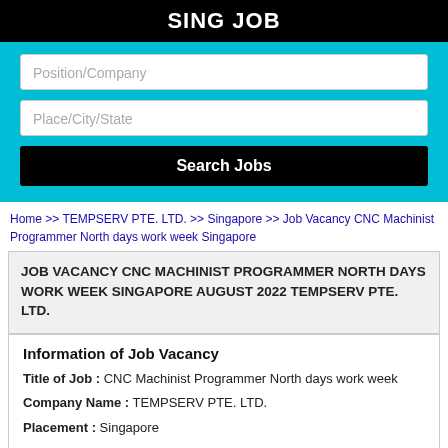SING JOB
[Figure (screenshot): Search bar UI with two input fields (Position/Company and Place/City/State) and a Search Jobs button on a cyan background]
Home >> TEMPSERV PTE. LTD. >> Singapore >> Job Vacancy CNC Machinist Programmer North days work week Singapore
JOB VACANCY CNC MACHINIST PROGRAMMER NORTH DAYS WORK WEEK SINGAPORE AUGUST 2022 TEMPSERV PTE. LTD.
Information of Job Vacancy
Title of Job : CNC Machinist Programmer North days work week
Company Name : TEMPSERV PTE. LTD.
Placement : Singapore
Date : 9 June 2022 ---> OPEN !